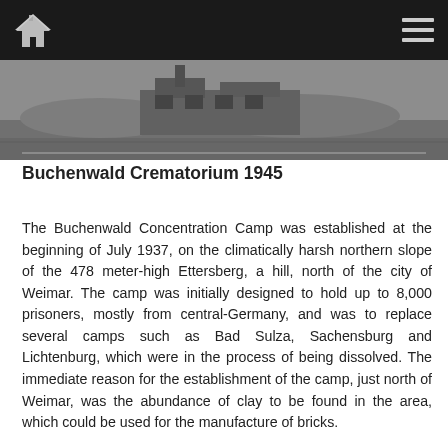[Figure (photo): Black and white photograph of the Buchenwald Crematorium, 1945, showing a building and grounds.]
Buchenwald Crematorium 1945
The Buchenwald Concentration Camp was established at the beginning of July 1937, on the climatically harsh northern slope of the 478 meter-high Ettersberg, a hill, north of the city of Weimar. The camp was initially designed to hold up to 8,000 prisoners, mostly from central-Germany, and was to replace several camps such as Bad Sulza, Sachensburg and Lichtenburg, which were in the process of being dissolved. The immediate reason for the establishment of the camp, just north of Weimar, was the abundance of clay to be found in the area, which could be used for the manufacture of bricks.
The first prisoners arrived in Buchenwald on July 15, 1937. They were confronted with very difficult conditions; they had to clear the forest and construct